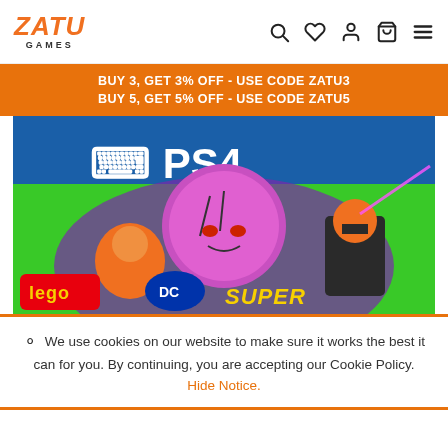ZATU GAMES - navigation header with search, wishlist, account, basket, menu icons
BUY 3, GET 3% OFF - USE CODE ZATU3
BUY 5, GET 5% OFF - USE CODE ZATU5
[Figure (screenshot): LEGO DC Super-Villains PS4 game cover art showing LEGO villains on green and blue background with PS4 logo]
We use cookies on our website to make sure it works the best it can for you. By continuing, you are accepting our Cookie Policy. Hide Notice.